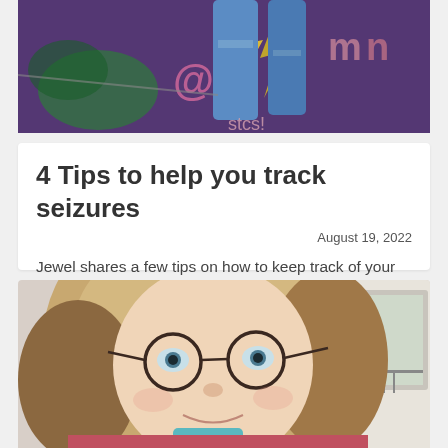[Figure (photo): Person standing in front of a graffiti-covered purple brick wall, wearing ripped jeans, photo taken from below showing legs and mural art with '@' symbol and colorful tags visible]
4 Tips to help you track seizures
August 19, 2022
Jewel shares a few tips on how to keep track of your seizures. We hope...
[Figure (photo): Close-up selfie of a woman with blonde hair and round glasses smiling at the camera, in a bright room with a window visible in the background]